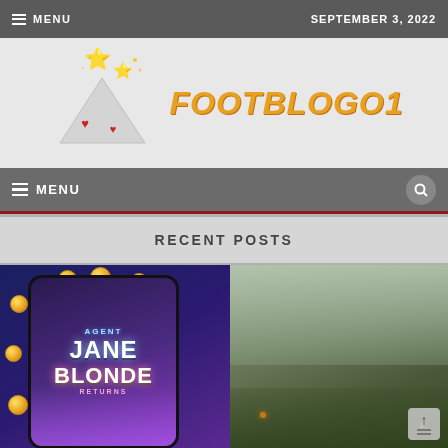MENU | SEPTEMBER 3, 2022
[Figure (logo): FootBlogo1 website logo with cartoon mountain and stars illustration, orange italic text reading FOOTBLOGO1]
MENU (navigation bar with search icon)
RECENT POSTS
[Figure (screenshot): Blog post featured image showing a mobile phone mockup with 'Agent Jane Blonde Returns' slot game art, gold coins floating around the phone, with a grassy misty outdoor scene on the right side]